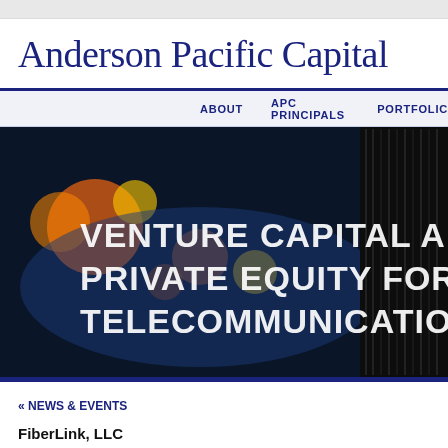Anderson Pacific Capital
[Figure (screenshot): Navigation bar with items: ABOUT, APC PRINCIPALS, PORTFOLIO]
[Figure (photo): Hero banner image showing telecommunications equipment with text overlay: VENTURE CAPITAL AND PRIVATE EQUITY FOR THE TELECOMMUNICATIONS IN[DUSTRY]]
« NEWS & EVENTS
FiberLink, LLC
January 1, 2008